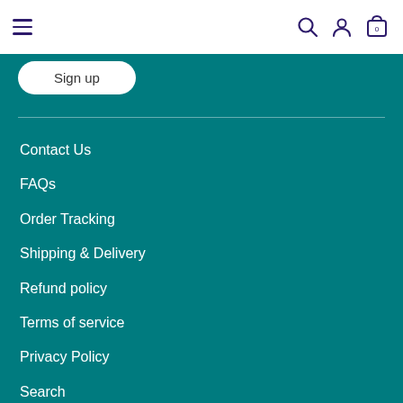Navigation bar with hamburger menu, search icon, user icon, and cart icon (0)
Sign up
Contact Us
FAQs
Order Tracking
Shipping & Delivery
Refund policy
Terms of service
Privacy Policy
Search
Sitemap